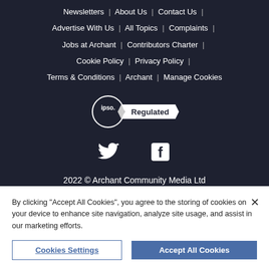Newsletters | About Us | Contact Us | Advertise With Us | All Topics | Complaints | Jobs at Archant | Contributors Charter | Cookie Policy | Privacy Policy | Terms & Conditions | Archant | Manage Cookies
[Figure (logo): IPSO Regulated badge - circular IPSO logo with ribbon banner saying Regulated]
[Figure (logo): Twitter bird icon and Facebook F icon social media links]
2022 © Archant Community Media Ltd
By clicking "Accept All Cookies", you agree to the storing of cookies on your device to enhance site navigation, analyze site usage, and assist in our marketing efforts.
Cookies Settings | Accept All Cookies